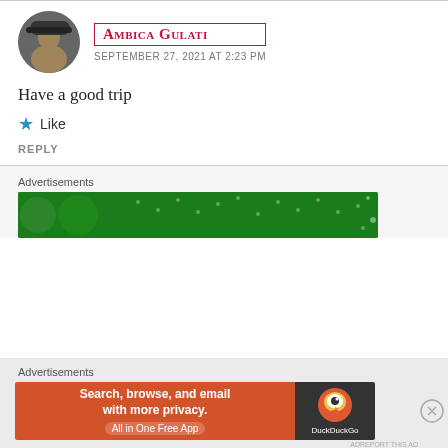[Figure (photo): Circular avatar photo of a person wearing a hat, dark background]
Ambica Gulati
September 27, 2021 at 2:23 PM
Have a good trip
★ Like
REPLY
Advertisements
[Figure (screenshot): Green advertisement banner with dots pattern]
Advertisements
[Figure (screenshot): DuckDuckGo advertisement: Search, browse, and email with more privacy. All in One Free App. DuckDuckGo logo on dark background.]